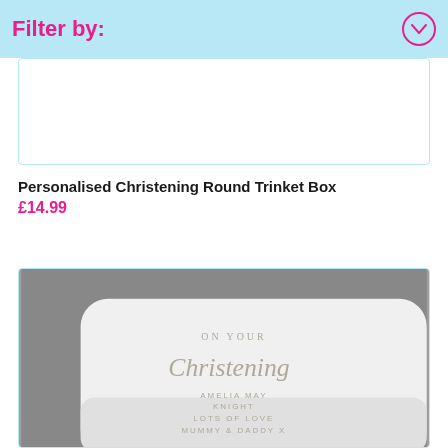Filter by:
[Figure (photo): Partially visible product image at top - white background product area]
Personalised Christening Round Trinket Box
£14.99
[Figure (photo): Personalised Christening Round Trinket Box - white trinket box with engraved text 'ON YOUR Christening AMELIA MAY KNIGHT LOTS OF LOVE MUMMY & DADDY X' on grey background]